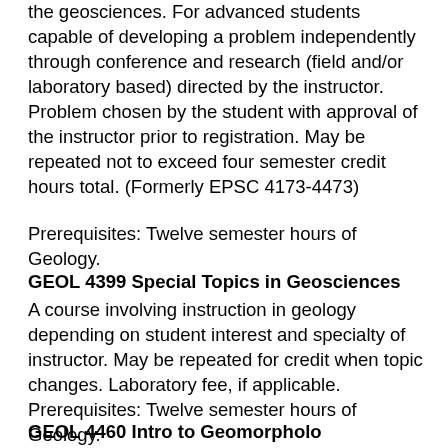the geosciences. For advanced students capable of developing a problem independently through conference and research (field and/or laboratory based) directed by the instructor. Problem chosen by the student with approval of the instructor prior to registration. May be repeated not to exceed four semester credit hours total. (Formerly EPSC 4173-4473)
Prerequisites: Twelve semester hours of Geology.
GEOL 4399 Special Topics in Geosciences
A course involving instruction in geology depending on student interest and specialty of instructor. May be repeated for credit when topic changes. Laboratory fee, if applicable.
Prerequisites: Twelve semester hours of Geology.
GEOL 4460 Introduction to Geomorphology